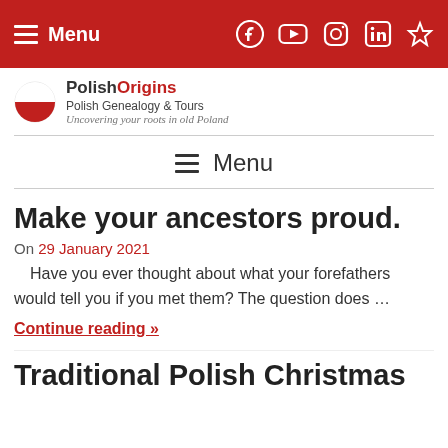Menu | Social icons: Facebook, YouTube, Instagram, LinkedIn, Star
[Figure (logo): PolishOrigins logo with Polish flag circle icon, text 'PolishOrigins' and subtitle 'Polish Genealogy & Tours / Uncovering your roots in old Poland']
Menu
Make your ancestors proud.
On 29 January 2021
Have you ever thought about what your forefathers would tell you if you met them? The question does …
Continue reading »
Traditional Polish Christmas